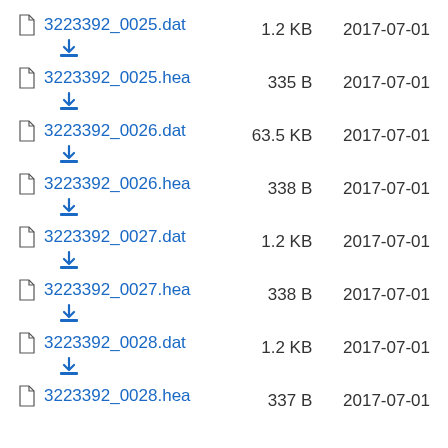3223392_0025.dat  1.2 KB  2017-07-01
3223392_0025.hea  335 B  2017-07-01
3223392_0026.dat  63.5 KB  2017-07-01
3223392_0026.hea  338 B  2017-07-01
3223392_0027.dat  1.2 KB  2017-07-01
3223392_0027.hea  338 B  2017-07-01
3223392_0028.dat  1.2 KB  2017-07-01
3223392_0028.hea  337 B  2017-07-01